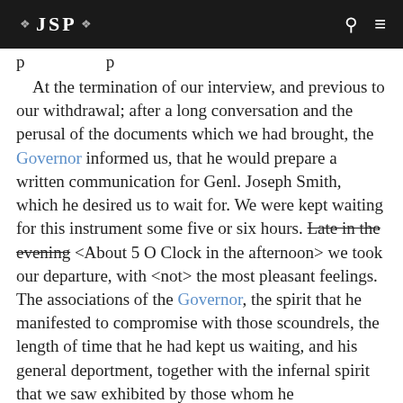❖ JSP ❖
At the termination of our interview, and previous to our withdrawal; after a long conversation and the perusal of the documents which we had brought, the Governor informed us, that he would prepare a written communication for Genl. Joseph Smith, which he desired us to wait for. We were kept waiting for this instrument some five or six hours. Late in the evening <About 5 O Clock in the afternoon> we took our departure, with <not> the most pleasant feelings. The associations of the Governor, the spirit that he manifested to compromise with those scoundrels, the length of time that he had kept us waiting, and his general deportment, together with the infernal spirit that we saw exhibited by those whom he